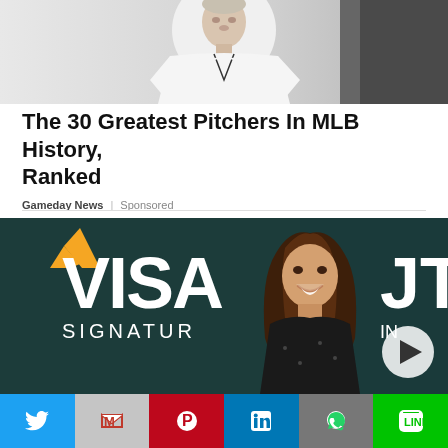[Figure (photo): Close-up photo of a baseball pitcher in white uniform]
The 30 Greatest Pitchers In MLB History, Ranked
Gameday News | Sponsored
[Figure (photo): Woman smiling in front of a Visa Signature banner/backdrop]
Social share bar with Twitter, Gmail, Pinterest, LinkedIn, WhatsApp, LINE buttons